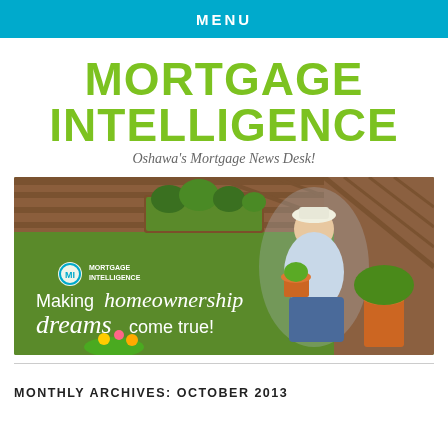MENU
MORTGAGE INTELLIGENCE
Oshawa's Mortgage News Desk!
[Figure (photo): Banner image for Mortgage Intelligence showing a woman kneeling on grass holding a potted plant near a wooden deck with text 'Making homeownership dreams come true!' and the Mortgage Intelligence logo.]
MONTHLY ARCHIVES: OCTOBER 2013